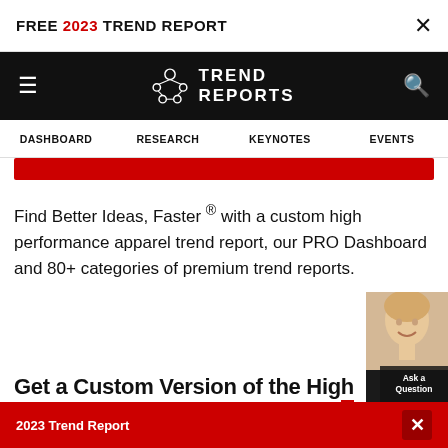FREE 2023 TREND REPORT
[Figure (screenshot): Trend Reports website navigation bar with hamburger menu, logo, and search icon on black background]
DASHBOARD   RESEARCH   KEYNOTES   EVENTS
Find Better Ideas, Faster ® with a custom high performance apparel trend report, our PRO Dashboard and 80+ categories of premium trend reports.
Get a Custom Version of the High Performance Apparel Trend Rep...
2023 Trend Report